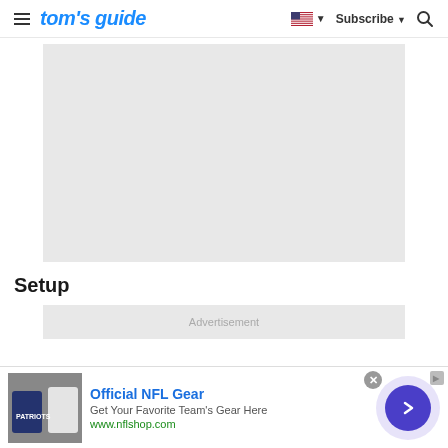tom's guide — Subscribe
[Figure (other): Gray advertisement placeholder rectangle]
Setup
[Figure (other): Gray advertisement placeholder bar with text 'Advertisement']
[Figure (other): Bottom banner ad: Official NFL Gear — Get Your Favorite Team's Gear Here — www.nflshop.com, with NFL apparel photo and circular CTA button]